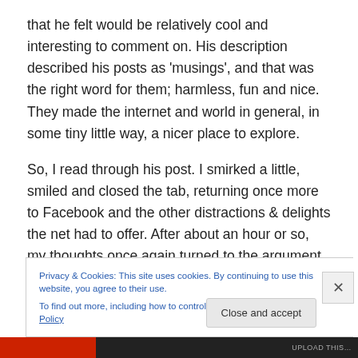that he felt would be relatively cool and interesting to comment on. His description described his posts as 'musings', and that was the right word for them; harmless, fun and nice. They made the internet and world in general, in some tiny little way, a nicer place to explore.
So, I read through his post. I smirked a little, smiled and closed the tab, returning once more to Facebook and the other distractions & delights the net had to offer. After about an hour or so, my thoughts once again turned to the argument, and I rashly flicked over to look at how it was
Privacy & Cookies: This site uses cookies. By continuing to use this website, you agree to their use.
To find out more, including how to control cookies, see here: Cookie Policy